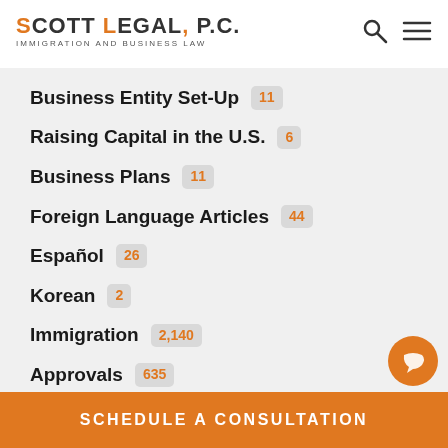SCOTT LEGAL, P.C. IMMIGRATION AND BUSINESS LAW
Business Entity Set-Up 11
Raising Capital in the U.S. 6
Business Plans 11
Foreign Language Articles 44
Español 26
Korean 2
Immigration 2,140
Approvals 635
Canadian Immigration 8
SCHEDULE A CONSULTATION